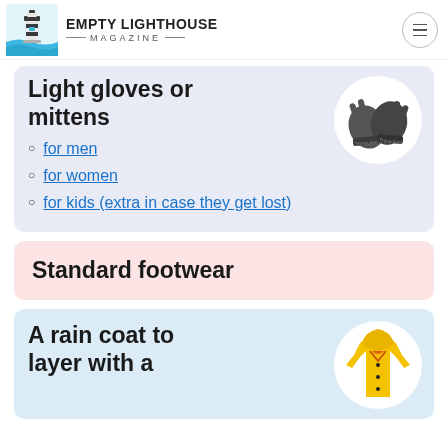EMPTY LIGHTHOUSE MAGAZINE
Light gloves or mittens
for men
for women
for kids (extra in case they get lost)
Standard footwear
A rain coat to layer with a